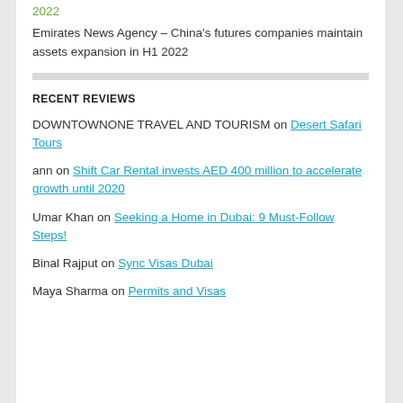2022
Emirates News Agency – China's futures companies maintain assets expansion in H1 2022
RECENT REVIEWS
DOWNTOWNONE TRAVEL AND TOURISM on Desert Safari Tours
ann on Shift Car Rental invests AED 400 million to accelerate growth until 2020
Umar Khan on Seeking a Home in Dubai: 9 Must-Follow Steps!
Binal Rajput on Sync Visas Dubai
Maya Sharma on Permits and Visas